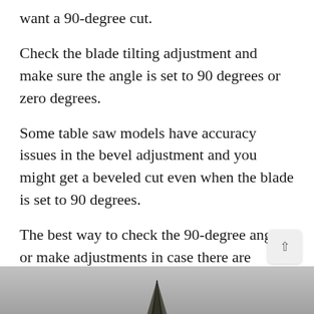want a 90-degree cut.
Check the blade tilting adjustment and make sure the angle is set to 90 degrees or zero degrees.
Some table saw models have accuracy issues in the bevel adjustment and you might get a beveled cut even when the blade is set to 90 degrees.
The best way to check the 90-degree angle or make adjustments in case there are inaccuracies is to use a woodworking square.
[Figure (photo): Bottom portion of a photograph showing a table saw blade or woodworking tool against a gray background]